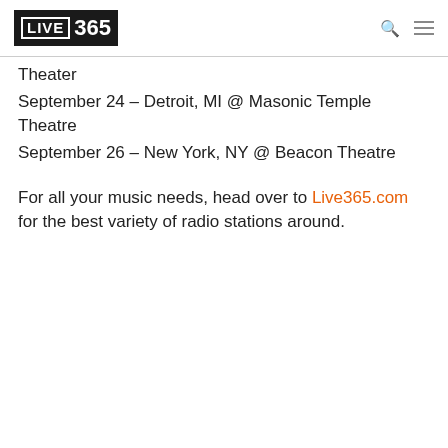LIVE 365
Theater
September 24 – Detroit, MI @ Masonic Temple Theatre
September 26 – New York, NY @ Beacon Theatre
For all your music needs, head over to Live365.com for the best variety of radio stations around.